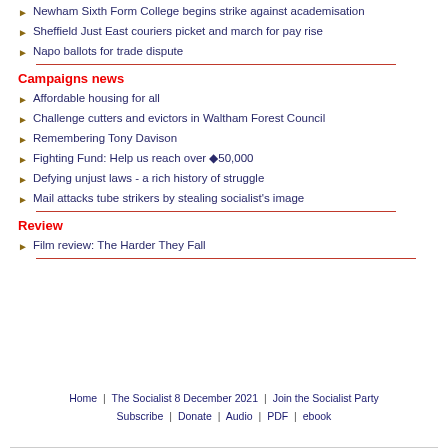Newham Sixth Form College begins strike against academisation
Sheffield Just East couriers picket and march for pay rise
Napo ballots for trade dispute
Campaigns news
Affordable housing for all
Challenge cutters and evictors in Waltham Forest Council
Remembering Tony Davison
Fighting Fund: Help us reach over ◆50,000
Defying unjust laws - a rich history of struggle
Mail attacks tube strikers by stealing socialist's image
Review
Film review: The Harder They Fall
Home | The Socialist 8 December 2021 | Join the Socialist Party Subscribe | Donate | Audio | PDF | ebook